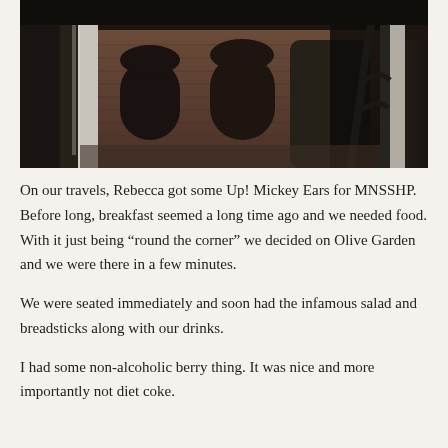[Figure (photo): Interior photo of a historic brick building with arched windows and a large dark metal sculpture or statue in the foreground right. Stone columns and ornate ironwork visible.]
On our travels, Rebecca got some Up! Mickey Ears for MNSSHP. Before long, breakfast seemed a long time ago and we needed food. With it just being “round the corner” we decided on Olive Garden and we were there in a few minutes.
We were seated immediately and soon had the infamous salad and breadsticks along with our drinks.
I had some non-alcoholic berry thing. It was nice and more importantly not diet coke.